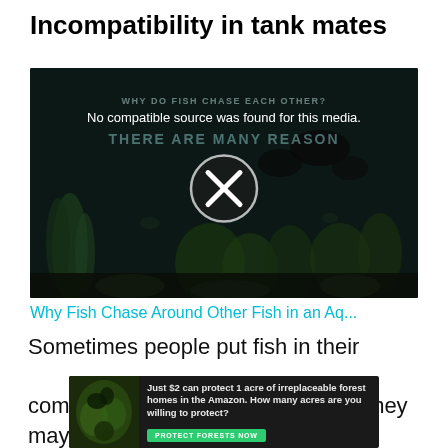Incompatibility in tank mates
[Figure (screenshot): Video player showing an aquarium/underwater scene with fish and plants. Text overlay reads 'WHY DO FISH CHASE EACH OTHER?' and 'THERE ARE MANY REASON'. Center shows a circle with X indicating no compatible media source. Message: 'No compatible source was found for this media.']
Why Fish Chase Around Other Fish in an Aq...
Sometimes people put fish in their community tanks and don't realize they may not be compatible. Some species can be...
[Figure (other): Advertisement banner: 'Just $2 can protect 1 acre of irreplaceable forest homes in the Amazon. How many acres are you willing to protect?' with a green button 'PROTECT FORESTS NOW']